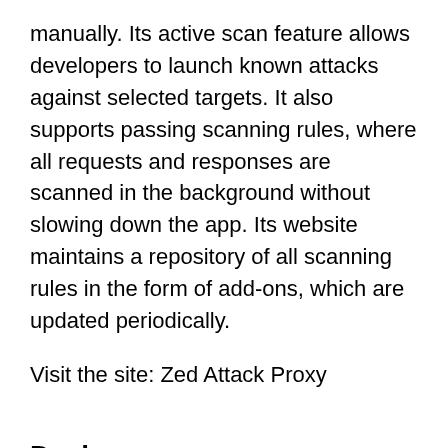manually. Its active scan feature allows developers to launch known attacks against selected targets. It also supports passing scanning rules, where all requests and responses are scanned in the background without slowing down the app. Its website maintains a repository of all scanning rules in the form of add-ons, which are updated periodically.
Visit the site: Zed Attack Proxy
Devknox
The unique thing about Devknox is that it allows developers to check security lapses in codes as they are writing it, much like a spell-check feature in a WYSIWYG editor. Despite the popularity of this Android Studio